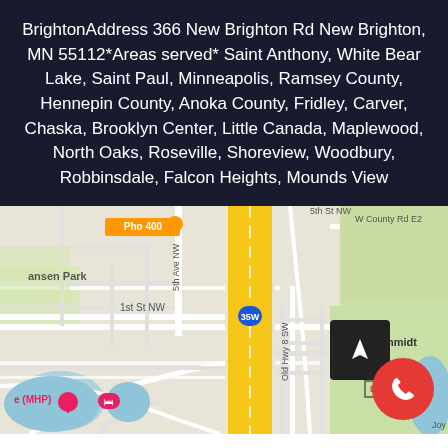BrightonAddress 366 New Brighton Rd New Brighton, MN 55112*Areas served* Saint Anthony, White Bear Lake, Saint Paul, Minneapolis, Ramsey County, Hennepin County, Anoka County, Fridley, Carver, Chaska, Brooklyn Center, Little Canada, Maplewood, North Oaks, Roseville, Shoreview, Woodbury, Robbinsdale, Falcon Heights, Mounds View
[Figure (map): Google Maps screenshot showing New Brighton, MN area with Interstate 35W, 5th Ave NW, 1st St NW, Old Hwy 8 SW, County Rd E2, Tony Schmidt Park, Ansen Park, Pho 400 restaurant marker. Shows street grid, green park areas, blue water bodies. Navigation arrow button and red phone call button overlaid.]